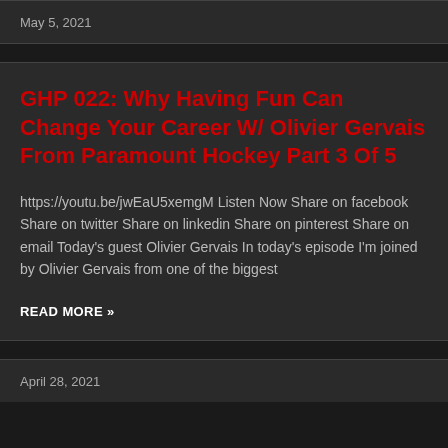May 5, 2021
GHP 022: Why Having Fun Can Change Your Career W/ Olivier Gervais From Paramount Hockey Part 3 Of 5
https://youtu.be/jwEaU5xemgM Listen Now Share on facebook Share on twitter Share on linkedin Share on pinterest Share on email Today's guest Olivier Gervais In today's episode I'm joined by Olivier Gervais from one of the biggest
READ MORE »
April 28, 2021